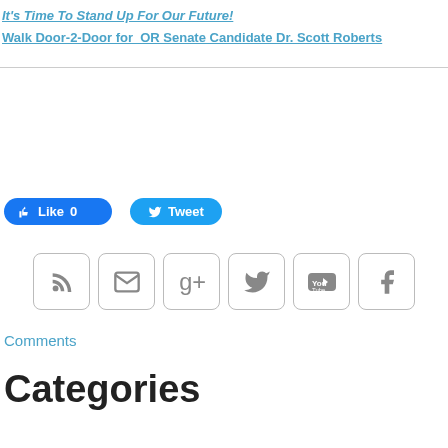It's Time To Stand Up For Our Future!
Walk Door-2-Door for OR Senate Candidate Dr. Scott Roberts
Comments
[Figure (infographic): Social media sharing buttons: Facebook Like (0) and Twitter Tweet buttons, followed by a row of social media icons: RSS feed, Email, Google+, Twitter, YouTube, Facebook]
Categories